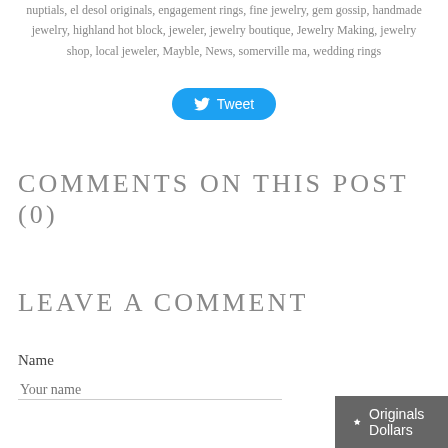nuptials, el desol originals, engagement rings, fine jewelry, gem gossip, handmade jewelry, highland hot block, jeweler, jewelry boutique, Jewelry Making, jewelry shop, local jeweler, Mayble, News, somerville ma, wedding rings
[Figure (other): Twitter Tweet button with bird icon]
COMMENTS ON THIS POST (0)
LEAVE A COMMENT
Name
Your name
[Figure (other): Originals Dollars button, dark grey, bottom right corner]